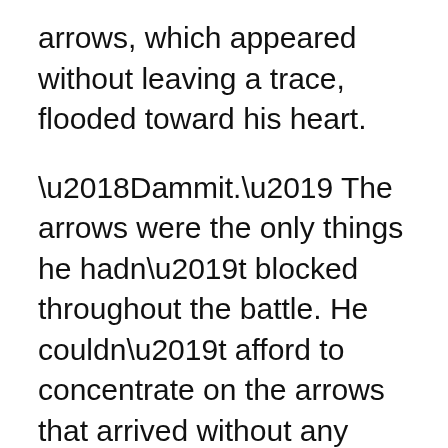arrows, which appeared without leaving a trace, flooded toward his heart.
‘Dammit.’ The arrows were the only things he hadn’t blocked throughout the battle. He couldn’t afford to concentrate on the arrows that arrived without any sound. Around two months ago, Jishuka had made the same expression after clearing a hidden quest and learning a new